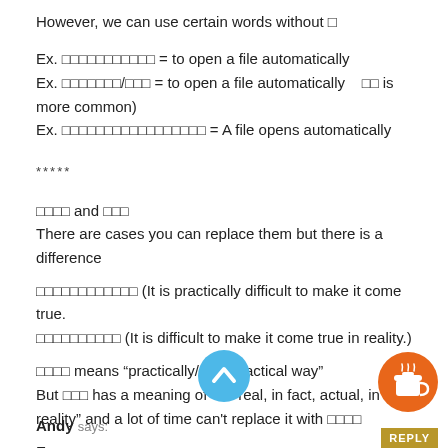However, we can use certain words without □
Ex. □□□□□□□□□□□ = to open a file automatically
Ex. □□□□□□□/□□□ = to open a file automatically    □□ is more common)
Ex. □□□□□□□□□□□□□□□□□ = A file opens automatically
*****
□□□□ and □□□
There are cases you can replace them but there is a difference
□□□□□□□□□□□□ (It is practically difficult to make it come true.
□□□□□□□□□□ (It is difficult to make it come true in reality.)
□□□□ means "practically/ in a practical way"
But □□□ has a meaning of "for real, in fact, actual, in reality" and a lot of time can't replace it with □□□□
Ex. □□□□□□□□□□□□□x    □□□□
= This is a true story.
Andy says:
[Figure (illustration): Blue circular scroll-up/chevron-up button]
[Figure (illustration): Orange circular coffee cup tip jar button]
REPLY